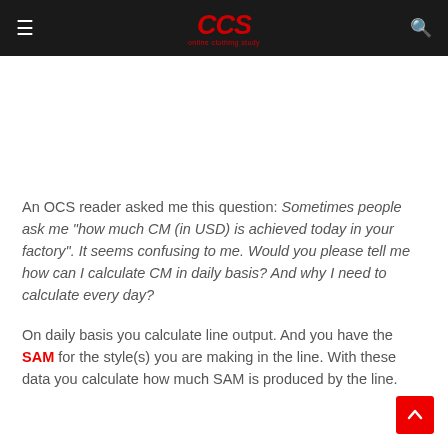CCS online clothing study
An OCS reader asked me this question: Sometimes people ask me "how much CM (in USD) is achieved today in your factory". It seems confusing to me. Would you please tell me how can I calculate CM in daily basis? And why I need to calculate every day?
On daily basis you calculate line output. And you have the SAM for the style(s) you are making in the line. With these data you calculate how much SAM is produced by the line.